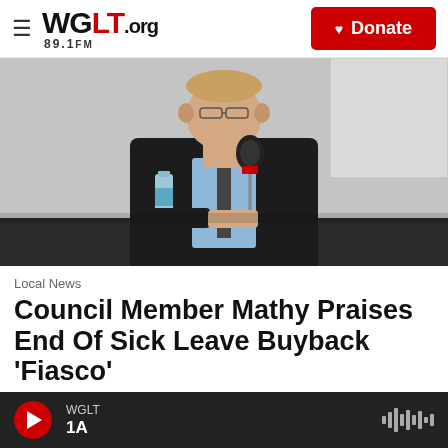WGLT.org 89.1FM | Donate
[Figure (photo): Man in dark suit seated at a table with a microphone and water bottle, speaking at a press event or council meeting.]
Local News
Council Member Mathy Praises End Of Sick Leave Buyback 'Fiasco'
WGLT 1A